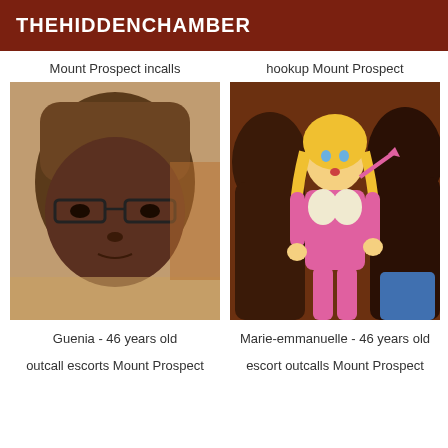THEHIDDENCHAMBER
Mount Prospect incalls
[Figure (photo): Photo of a woman wearing glasses, close-up face shot]
Guenia - 46 years old
outcall escorts Mount Prospect
hookup Mount Prospect
[Figure (illustration): Cartoon illustration of a blonde woman in pink outfit with large muscular figures]
Marie-emmanuelle - 46 years old
escort outcalls Mount Prospect